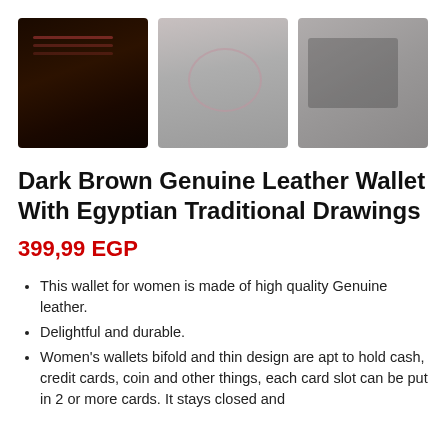[Figure (photo): Three thumbnail photos of a dark brown genuine leather wallet with Egyptian traditional drawings / jewelry bracelet on dark background, bracelet on gray surface, bracelet on dark box]
Dark Brown Genuine Leather Wallet With Egyptian Traditional Drawings
399,99 EGP
This wallet for women is made of high quality Genuine leather.
Delightful and durable.
Women's wallets bifold and thin design are apt to hold cash, credit cards, coin and other things, each card slot can be put in 2 or more cards. It stays closed and